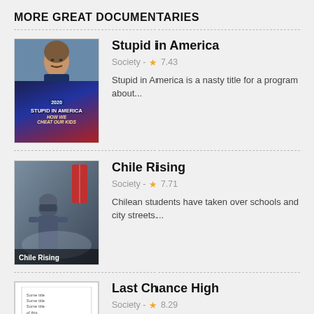MORE GREAT DOCUMENTARIES
[Figure (photo): Thumbnail for 'Stupid in America' documentary showing a man's face and a 20/20 styled poster with text 'Stupid in America: How We Cheat Our Kids']
Stupid in America
Society - ★7.43
Stupid in America is a nasty title for a program about...
[Figure (photo): Thumbnail for 'Chile Rising' documentary showing a person in heavy gear with a red sign in the background, label 'Chile Rising' at bottom]
Chile Rising
Society - ★7.71
Chilean students have taken over schools and city streets...
[Figure (photo): Thumbnail for 'Last Chance High' documentary showing text lines and a blue italic 'last' word]
Last Chance High
Society - ★8.29